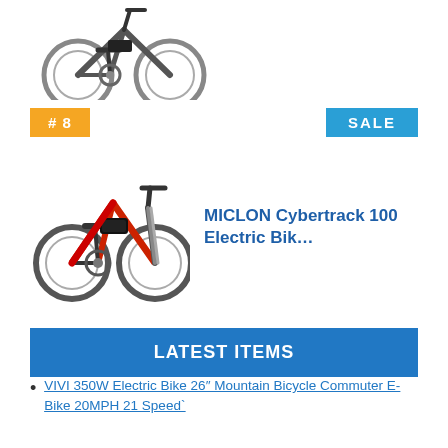[Figure (photo): Electric mountain bike product photo, top of page, partially cropped]
#8
SALE
[Figure (photo): MICLON Cybertrack 100 electric bike product photo, black and red mountain bike]
MICLON Cybertrack 100 Electric Bik...
LATEST ITEMS
VIVI 350W Electric Bike 26″ Mountain Bicycle Commuter E-Bike 20MPH 21 Speed`
Folding Electric Bike 14″ Foldable E-Bike 350W Commuter Bicycle E-Bike 20MPH
1000W Fat Tire Electric Bike,26″ Electric Mountain Bike 48V Commuting Ebike!New
ANCHEER Electric Bike 350W 26" Commuter Ebike